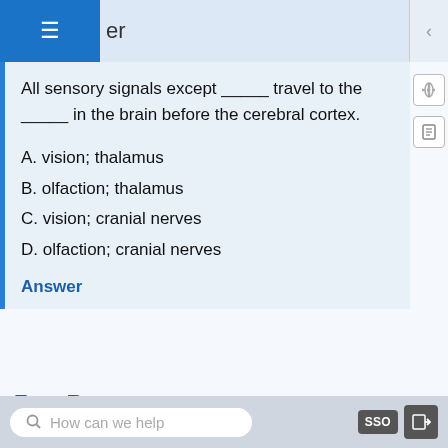er
All sensory signals except _____ travel to the _____ in the brain before the cerebral cortex.
A. vision; thalamus
B. olfaction; thalamus
C. vision; cranial nerves
D. olfaction; cranial nerves
Answer
Free Response
From the perspective of the recipient of the signal, in what ways do pheromones differ from other